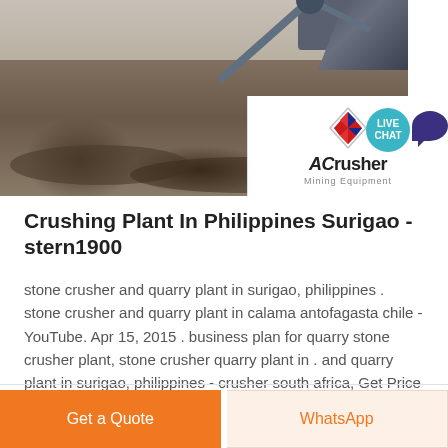[Figure (photo): Construction/mining site with crushed stone, gravel piles, and heavy machinery including a conveyor belt. Overlaid with ACrusher Mining Equipment logo and a Live Chat bubble.]
Crushing Plant In Philippines Surigao - stern1900
stone crusher and quarry plant in surigao, philippines . stone crusher and quarry plant in calama antofagasta chile - YouTube. Apr 15, 2015 . business plan for quarry stone crusher plant, stone crusher quarry plant in . and quarry plant in surigao, philippines - crusher south africa, Get Price And Support Online
Get a Quote
WhatsApp